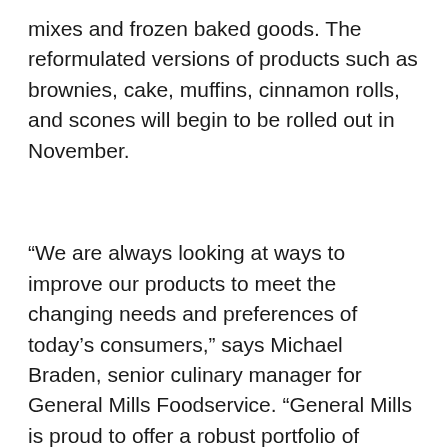mixes and frozen baked goods. The reformulated versions of products such as brownies, cake, muffins, cinnamon rolls, and scones will begin to be rolled out in November.
“We are always looking at ways to improve our products to meet the changing needs and preferences of today’s consumers,” says Michael Braden, senior culinary manager for General Mills Foodservice. “General Mills is proud to offer a robust portfolio of baking products with a cleaner profile so our operators can feel even better about using these beloved products they already know and trust.”
Starting now, Gold Medal Biscuit, Griddle, and Bread mixes are available in the new versions, with Muffin Brownie, and Cake mixes to follow in June of 2018. Pillsbury Frozen Baked Goods